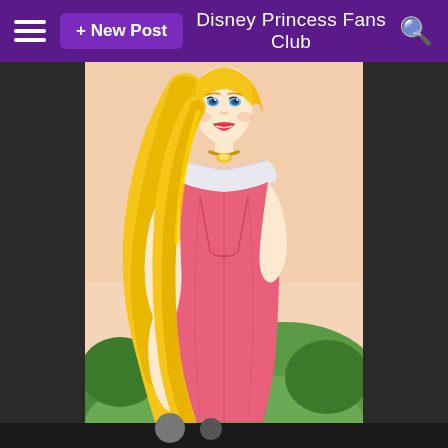Disney Princess Fans Club
[Figure (illustration): Disney Princess Aurora (Sleeping Beauty) illustration showing the character in her pink dress with off-shoulder white collar, long golden hair, against a green landscape background]